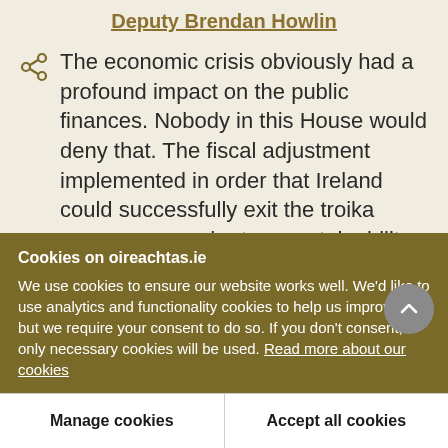Deputy Brendan Howlin
The economic crisis obviously had a profound impact on the public finances. Nobody in this House would deny that. The fiscal adjustment implemented in order that Ireland could successfully exit the troika programme and return sustainability to our public finances required expenditure reductions. Gross voted expenditure was reduced
Cookies on oireachtas.ie
We use cookies to ensure our website works well. We'd like to use analytics and functionality cookies to help us improve it but we require your consent to do so. If you don't consent, only necessary cookies will be used. Read more about our cookies
Manage cookies
Accept all cookies